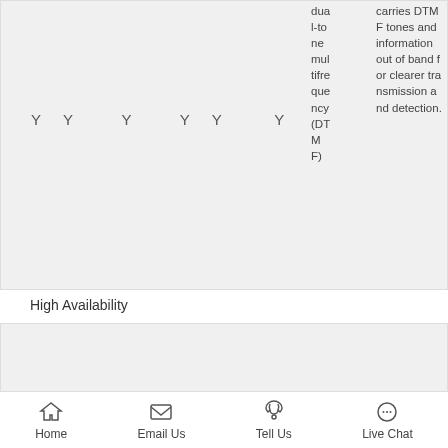| Y | Y | Y | Y | Y | Y | dual-tone multifrequency (DTMF) | carries DTMF tones and information out of band for clearer transmission and detection. |
High Availability
|  |  |  |  |  |  | Cisco Unified Co mm | When the unified communications rou ter loses con tact with the |
Home   Email Us   Tell Us   Live Chat